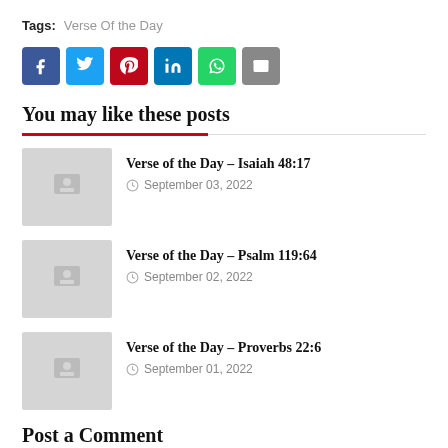Tags: Verse Of the Day
[Figure (infographic): Social share buttons: Facebook (blue), Twitter (cyan), Pinterest (red), LinkedIn (blue), WhatsApp (green), Email (gray)]
You may like these posts
Verse of the Day - Isaiah 48:17
September 03, 2022
Verse of the Day - Psalm 119:64
September 02, 2022
Verse of the Day - Proverbs 22:6
September 01, 2022
Post a Comment